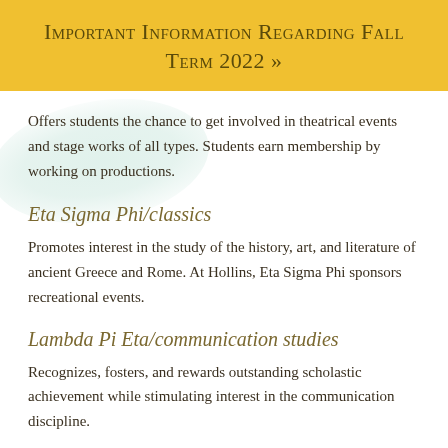Important Information Regarding Fall Term 2022 »
Offers students the chance to get involved in theatrical events and stage works of all types. Students earn membership by working on productions.
Eta Sigma Phi/classics
Promotes interest in the study of the history, art, and literature of ancient Greece and Rome. At Hollins, Eta Sigma Phi sponsors recreational events.
Lambda Pi Eta/communication studies
Recognizes, fosters, and rewards outstanding scholastic achievement while stimulating interest in the communication discipline.